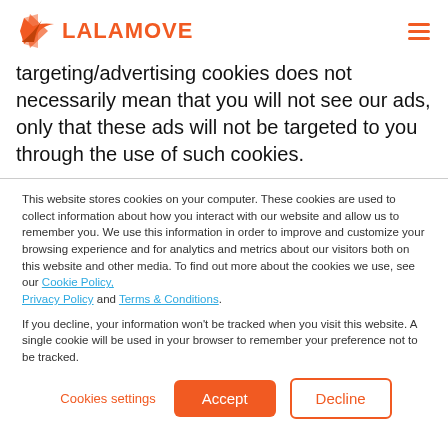LALAMOVE
targeting/advertising cookies does not necessarily mean that you will not see our ads, only that these ads will not be targeted to you through the use of such cookies.
This website stores cookies on your computer. These cookies are used to collect information about how you interact with our website and allow us to remember you. We use this information in order to improve and customize your browsing experience and for analytics and metrics about our visitors both on this website and other media. To find out more about the cookies we use, see our Cookie Policy, Privacy Policy and Terms & Conditions.
If you decline, your information won't be tracked when you visit this website. A single cookie will be used in your browser to remember your preference not to be tracked.
Cookies settings | Accept | Decline